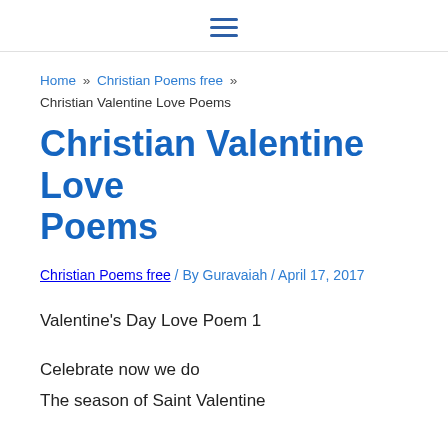☰ (hamburger menu icon)
Home » Christian Poems free » Christian Valentine Love Poems
Christian Valentine Love Poems
Christian Poems free / By Guravaiah / April 17, 2017
Valentine's Day Love Poem 1
Celebrate now we do
The season of Saint Valentine